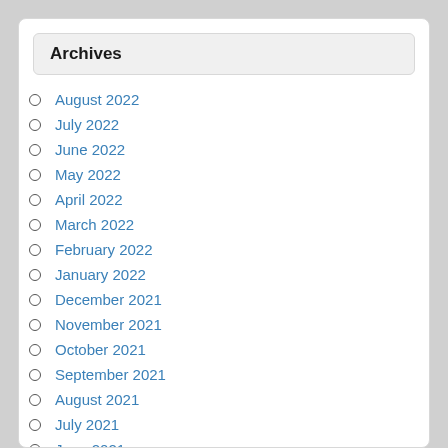Archives
August 2022
July 2022
June 2022
May 2022
April 2022
March 2022
February 2022
January 2022
December 2021
November 2021
October 2021
September 2021
August 2021
July 2021
June 2021
May 2021
April 2021